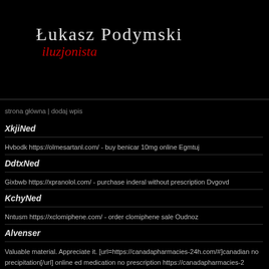Łukasz Podymski iluzjonista
strona główna | dodaj wpis
XkjiNed
Hvbodk https://olmesartanl.com/ - buy benicar 10mg online Egmtuj
DdtxNed
Gixbwb https://xpranolol.com/ - purchase inderal without prescription Dvgovd
KchyNed
Nntusm https://xclomiphene.com/ - order clomiphene sale Oudnoz
Alvenser
Valuable material. Appreciate it. [url=https://canadapharmacies-24h.com/#]canadian no precipitation[/url] online ed medication no prescription https://canadapharmacies-2